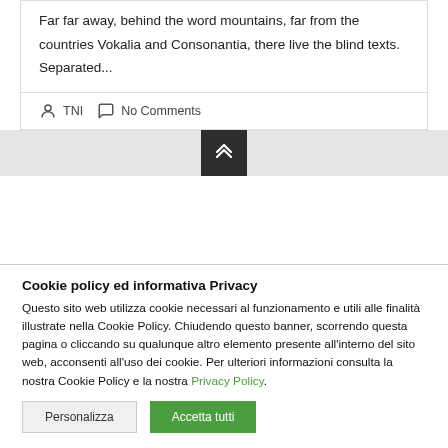Far far away, behind the word mountains, far from the countries Vokalia and Consonantia, there live the blind texts. Separated...
TNI   No Comments
[Figure (other): Dark square button with double upward chevron arrow (scroll to top button)]
Cookie policy ed informativa Privacy
Questo sito web utilizza cookie necessari al funzionamento e utili alle finalità illustrate nella Cookie Policy. Chiudendo questo banner, scorrendo questa pagina o cliccando su qualunque altro elemento presente all'interno del sito web, acconsenti all'uso dei cookie. Per ulteriori informazioni consulta la nostra Cookie Policy e la nostra Privacy Policy.
Personalizza   Accetta tutti